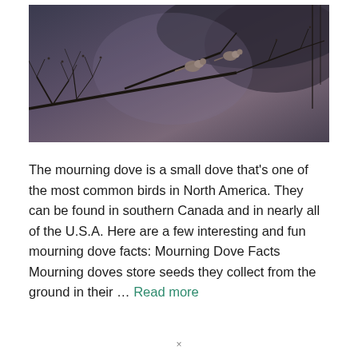[Figure (photo): Two mourning doves perched on bare winter tree branches against a dark, overcast sky background]
The mourning dove is a small dove that's one of the most common birds in North America. They can be found in southern Canada and in nearly all of the U.S.A. Here are a few interesting and fun mourning dove facts: Mourning Dove Facts Mourning doves store seeds they collect from the ground in their … Read more